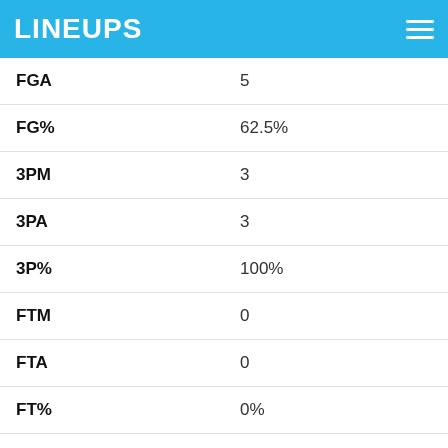LINEUPS
| Stat | Value |
| --- | --- |
| FGA | 5 |
| FG% | 62.5% |
| 3PM | 3 |
| 3PA | 3 |
| 3P% | 100% |
| FTM | 0 |
| FTA | 0 |
| FT% | 0% |
| TOV | 3 |
| Rebounds |  |
| TRB | 5 |
| ORB | 0 |
| DRB | 5 |